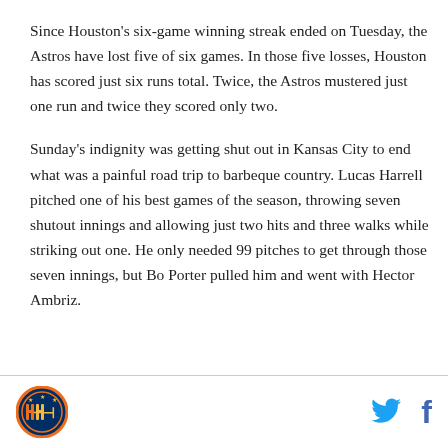Since Houston's six-game winning streak ended on Tuesday, the Astros have lost five of six games. In those five losses, Houston has scored just six runs total. Twice, the Astros mustered just one run and twice they scored only two.
Sunday's indignity was getting shut out in Kansas City to end what was a painful road trip to barbeque country. Lucas Harrell pitched one of his best games of the season, throwing seven shutout innings and allowing just two hits and three walks while striking out one. He only needed 99 pitches to get through those seven innings, but Bo Porter pulled him and went with Hector Ambriz.
[Figure (logo): Houston Astros circular logo with stylized H-H letters]